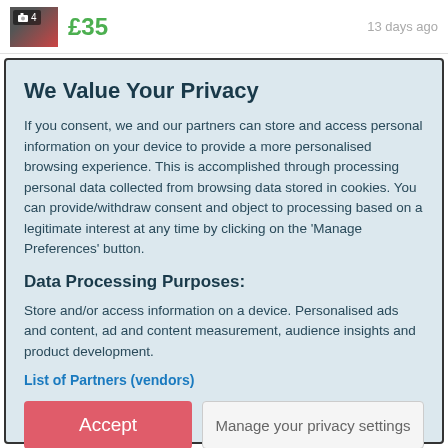📷 4   £35   13 days ago
We Value Your Privacy
If you consent, we and our partners can store and access personal information on your device to provide a more personalised browsing experience. This is accomplished through processing personal data collected from browsing data stored in cookies. You can provide/withdraw consent and object to processing based on a legitimate interest at any time by clicking on the 'Manage Preferences' button.
Data Processing Purposes:
Store and/or access information on a device. Personalised ads and content, ad and content measurement, audience insights and product development.
List of Partners (vendors)
Accept   Manage your privacy settings